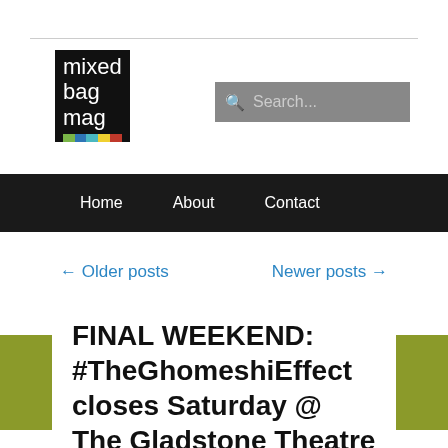[Figure (logo): Mixed Bag Mag logo: black box with white text 'mixed bag mag' and colored stripes (green, blue, teal, yellow, red) below]
[Figure (screenshot): Search bar with gray background and search icon placeholder text]
Home   About   Contact
← Older posts
Newer posts →
FINAL WEEKEND: #TheGhomeshiEffect closes Saturday @ The Gladstone Theatre #Ottawa
Posted on January 27, 2017